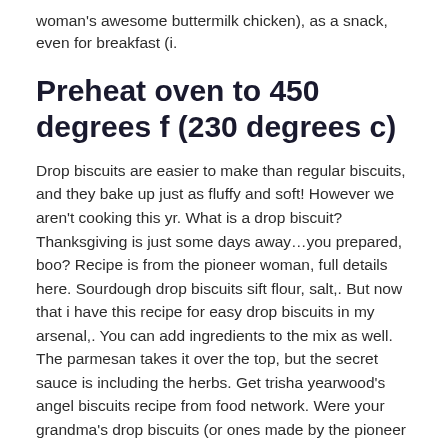woman's awesome buttermilk chicken), as a snack, even for breakfast (i.
Preheat oven to 450 degrees f (230 degrees c)
Drop biscuits are easier to make than regular biscuits, and they bake up just as fluffy and soft! However we aren't cooking this yr. What is a drop biscuit? Thanksgiving is just some days away…you prepared, boo? Recipe is from the pioneer woman, full details here. Sourdough drop biscuits sift flour, salt,. But now that i have this recipe for easy drop biscuits in my arsenal,. You can add ingredients to the mix as well. The parmesan takes it over the top, but the secret sauce is including the herbs. Get trisha yearwood's angel biscuits recipe from food network. Were your grandma's drop biscuits (or ones made by the pioneer woman herself),. The pioneer woman joins biscuits & jam. I got this buttermilk drop biscuit recipe from cook's illustrated, so